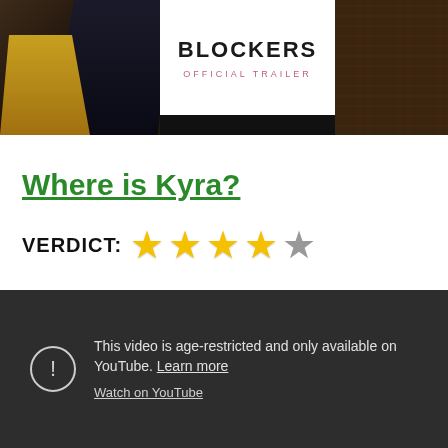[Figure (screenshot): Movie trailer thumbnail banner for 'Blockers' showing people on dark background with a white center card displaying the movie title 'BLOCKERS' and 'OFFICIAL TRAILER' text]
Where is Kyra?
VERDICT: ★★★★☆ (4 out of 5 stars, with 3 gold, 1 half, 1 gray)
[Figure (screenshot): YouTube embedded video player showing age-restriction message: 'This video is age-restricted and only available on YouTube. Learn more' and 'Watch on YouTube' link, with warning icon circle]